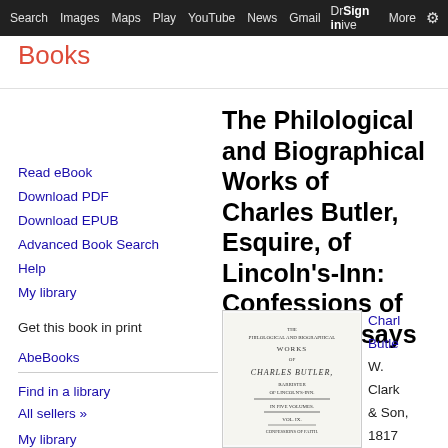Search  Images  Maps  Play  YouTube  News  Gmail  Drive  More  Sign in  Settings
Books
Read eBook
Download PDF
Download EPUB
Advanced Book Search
Help
My library
Get this book in print
AbeBooks
Find in a library
All sellers »
My library
The Philological and Biographical Works of Charles Butler, Esquire, of Lincoln's-Inn: Confessions of faith and essays
[Figure (illustration): Scanned title page of the book showing 'The Philological and Biographical Works of Charles Butler, Barrister of Lincoln's-Inn, in five volumes, Vol. IX, Confessions of Faith']
Charles Butler
W. Clark & Son, 1817